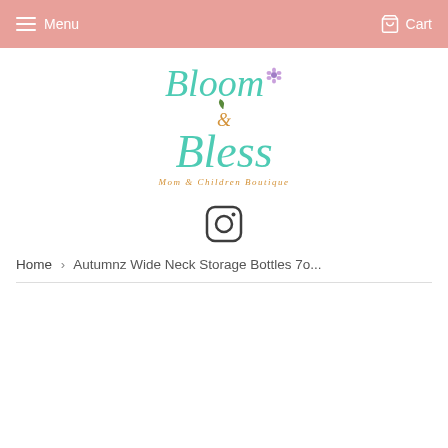Menu  Cart
[Figure (logo): Bloom & Bless Mom & Children Boutique logo with teal cursive text, purple flower, green leaf, and gold ampersand]
[Figure (logo): Instagram icon - rounded square with circle and dot]
Home  ›  Autumnz Wide Neck Storage Bottles 7o...